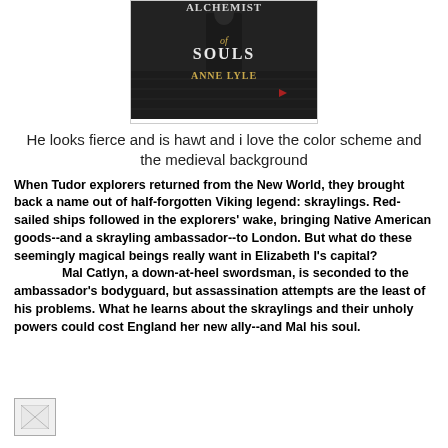[Figure (photo): Book cover of 'Alchemist of Souls' by Anne Lyle, showing a dark medieval background with a figure and red text]
He looks fierce and is hawt and i love the color scheme and the medieval background
When Tudor explorers returned from the New World, they brought back a name out of half-forgotten Viking legend: skraylings. Red-sailed ships followed in the explorers' wake, bringing Native American goods--and a skrayling ambassador--to London. But what do these seemingly magical beings really want in Elizabeth I's capital?
    Mal Catlyn, a down-at-heel swordsman, is seconded to the ambassador's bodyguard, but assassination attempts are the least of his problems. What he learns about the skraylings and their unholy powers could cost England her new ally--and Mal his soul.
[Figure (other): Small broken/placeholder image icon at bottom left]